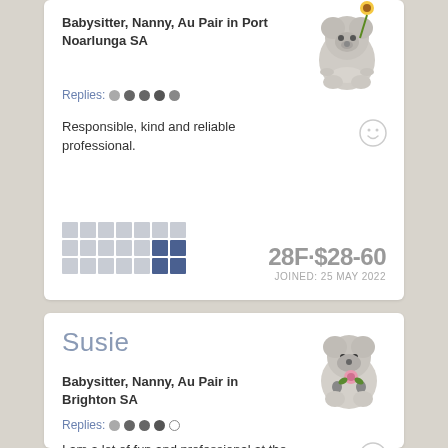Babysitter, Nanny, Au Pair in Port Noarlunga SA
Replies: ●●●●●
Responsible, kind and reliable professional.
28F · $28-60
JOINED: 25 MAY 2022
Susie
Babysitter, Nanny, Au Pair in Brighton SA
Replies: ●●●●○
I am a lot of fun and professional at the same time which do seem to love about me..